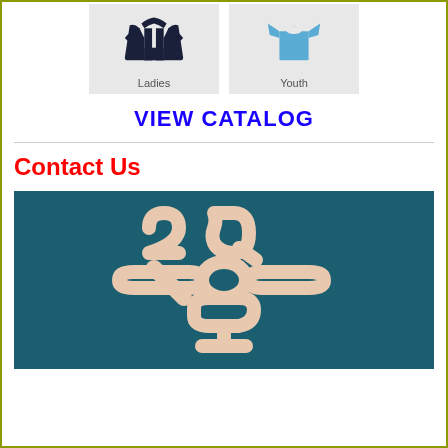[Figure (photo): Two clothing items side by side: a navy ladies cardigan on the left labeled 'Ladies', and a light blue youth t-shirt on the right labeled 'Youth', both on light gray backgrounds.]
VIEW CATALOG
Contact Us
[Figure (logo): A teal/dark cyan background with a stylized logo mark in peach/cream color resembling intertwined or connected shapes, possibly a company logo.]